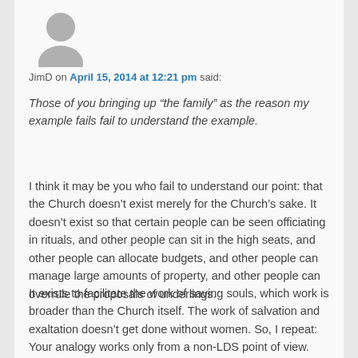[Figure (illustration): Gray silhouette avatar icon of a person]
JimD on April 15, 2014 at 12:21 pm said:
Those of you bringing up “the family” as the reason my example fails fail to understand the example.
I think it may be you who fail to understand our point: that the Church doesn’t exist merely for the Church’s sake. It doesn’t exist so that certain people can be seen officiating in rituals, and other people can sit in the high seats, and other people can allocate budgets, and other people can manage large amounts of property, and other people can overrule the proposals of underlings.
It exists to facilitate the work of saving souls, which work is broader than the Church itself. The work of salvation and exaltation doesn’t get done without women. So, I repeat: Your analogy works only from a non-LDS point of view.